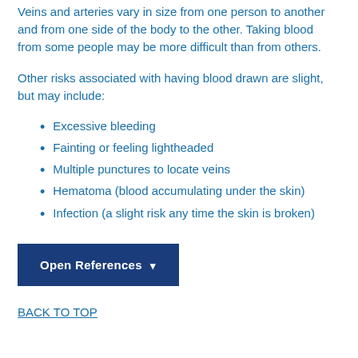Veins and arteries vary in size from one person to another and from one side of the body to the other. Taking blood from some people may be more difficult than from others.
Other risks associated with having blood drawn are slight, but may include:
Excessive bleeding
Fainting or feeling lightheaded
Multiple punctures to locate veins
Hematoma (blood accumulating under the skin)
Infection (a slight risk any time the skin is broken)
Open References ▾
BACK TO TOP